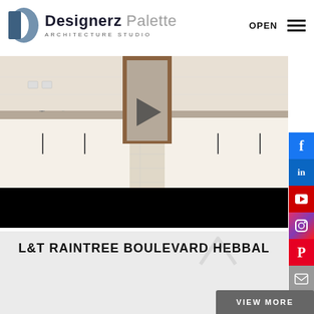Designerz Palette ARCHITECTURE STUDIO
[Figure (screenshot): Kitchen interior photo showing white modular cabinets with black handles, a gas hob, tiled floor, and a wooden-framed passage. A video play button overlay is visible. Below the image is a black bar.]
L&T RAINTREE BOULEVARD HEBBAL
[Figure (other): Social media sidebar with Facebook, LinkedIn, YouTube, Instagram, Pinterest, and email icons on the right edge of the page]
[Figure (other): VIEW MORE button at bottom right, dark grey]
[Figure (other): Up-arrow chevron icon in light grey]